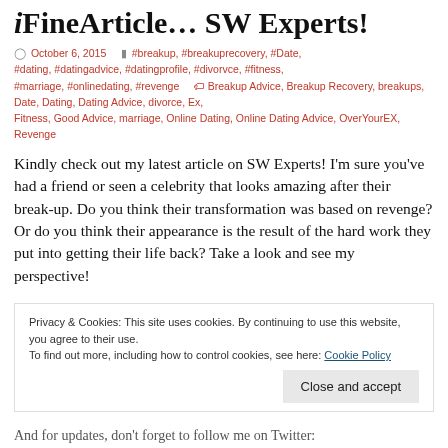iFineArticle… SW Experts!
October 6, 2015   #breakup, #breakuprecovery, #Date, #dating, #datingadvice, #datingprofile, #divorvce, #fitness, #marriage, #onlinedating, #revenge   Breakup Advice, Breakup Recovery, breakups, Date, Dating, Dating Advice, divorce, Ex, Fitness, Good Advice, marriage, Online Dating, Online Dating Advice, OverYourEX, Revenge
Kindly check out my latest article on SW Experts!  I'm sure you've had a friend or seen a celebrity that looks amazing after their break-up.  Do you think their transformation was based on revenge?  Or do you think their appearance is the result of the hard work they put into getting their life back?  Take a look and see my perspective!
Privacy & Cookies: This site uses cookies. By continuing to use this website, you agree to their use. To find out more, including how to control cookies, see here: Cookie Policy   Close and accept
And for updates, don't forget to follow me on Twitter: